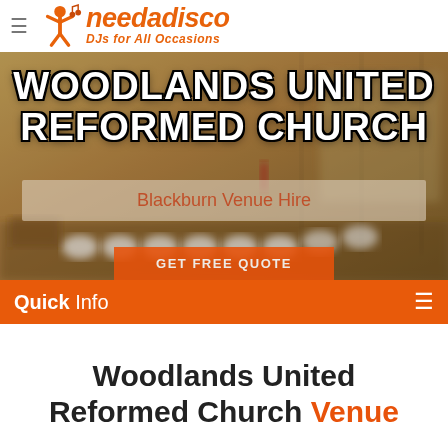[Figure (logo): needadisco logo with person icon and text 'needadisco DJs for All Occasions' in orange italic font]
[Figure (photo): Hero banner showing Woodlands United Reformed Church interior (blurred church hall with white chairs), with overlaid title text 'WOODLANDS UNITED REFORMED CHURCH' in large bold white text with black outline, a semi-transparent box with text 'Blackburn Venue Hire' in orange, and a partially visible orange button 'GET FREE QUOTE']
Quick Info
Woodlands United Reformed Church Venue